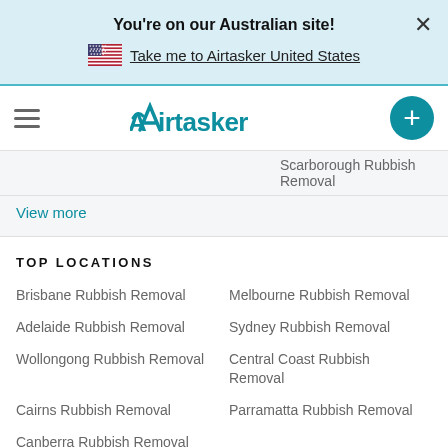You're on our Australian site!
Take me to Airtasker United States
[Figure (logo): Airtasker logo with teal wordmark and hamburger menu icon, plus a teal circular button with plus sign]
Scarborough Rubbish Removal
View more
TOP LOCATIONS
Brisbane Rubbish Removal
Adelaide Rubbish Removal
Wollongong Rubbish Removal
Cairns Rubbish Removal
Canberra Rubbish Removal
Melbourne Rubbish Removal
Sydney Rubbish Removal
Central Coast Rubbish Removal
Parramatta Rubbish Removal